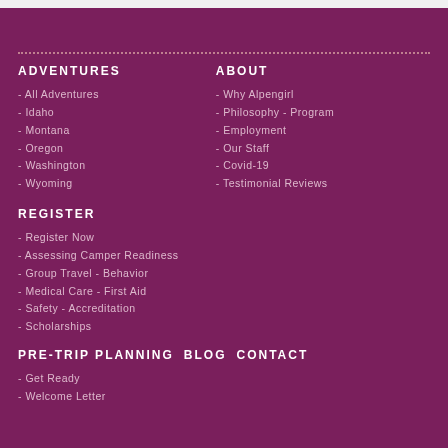ADVENTURES
- All Adventures
- Idaho
- Montana
- Oregon
- Washington
- Wyoming
ABOUT
- Why Alpengirl
- Philosophy - Program
- Employment
- Our Staff
- Covid-19
- Testimonial Reviews
REGISTER
- Register Now
- Assessing Camper Readiness
- Group Travel - Behavior
- Medical Care - First Aid
- Safety - Accreditation
- Scholarships
PRE-TRIP PLANNING   BLOG   CONTACT
- Get Ready
- Welcome Letter